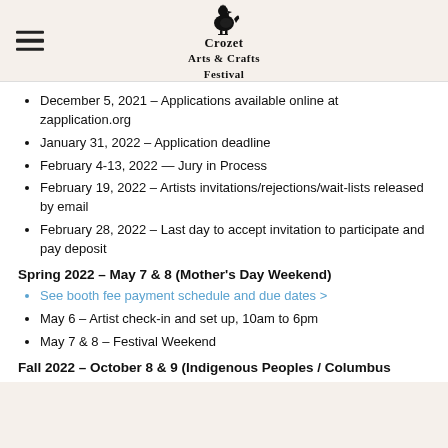Crozet Arts & Crafts Festival
December 5, 2021 – Applications available online at zapplication.org
January 31, 2022 – Application deadline
February 4-13, 2022 — Jury in Process
February 19, 2022 – Artists invitations/rejections/wait-lists released by email
February 28, 2022 – Last day to accept invitation to participate and pay deposit
Spring 2022 – May 7 & 8 (Mother's Day Weekend)
See booth fee payment schedule and due dates >
May 6 – Artist check-in and set up, 10am to 6pm
May 7 & 8 – Festival Weekend
Fall 2022 – October 8 & 9 (Indigenous Peoples / Columbus